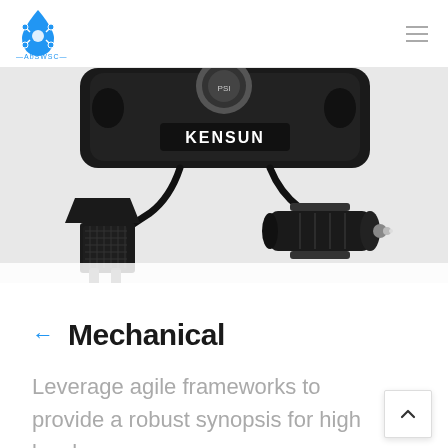AbSWSC logo and navigation menu
[Figure (photo): A Kensun branded portable air compressor/pump device shown from above, with a black power plug (US two-prong) on the left and a 12V car cigarette lighter adapter plug on the right, connected by a black cord.]
← Mechanical
Leverage agile frameworks to provide a robust synopsis for high level.